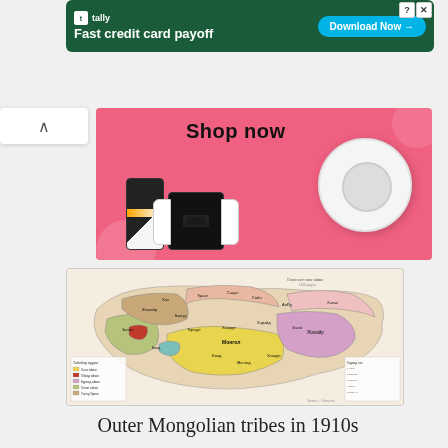[Figure (screenshot): Tally app advertisement banner with green background showing 'Fast credit card payoff' and 'Download Now' CTA button]
[Figure (screenshot): E-commerce shop advertisement with pink background showing 'Shop now' text, robot vacuum, phone, and Nintendo Switch]
[Figure (map): Map of Outer Mongolian tribes in 1910s showing various tribal regions with Cyrillic/Mongolian labels and color-coded legend]
Outer Mongolian tribes in 1910s